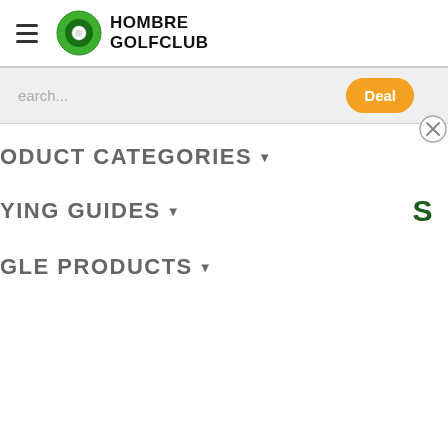Hombre Golfclub
[Figure (logo): Hombre Golfclub logo with green circular golf ball icon and bold uppercase text]
earch...
Deal
ODUCT CATEGORIES ▾
YING GUIDES ▾
GLE PRODUCTS ▾